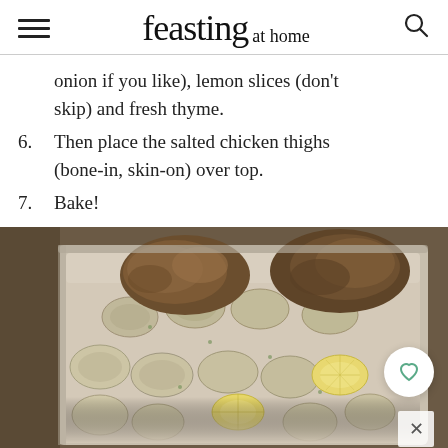feasting at home
onion if you like), lemon slices (don't skip) and fresh thyme.
6. Then place the salted chicken thighs (bone-in, skin-on) over top.
7. Bake!
[Figure (photo): A baking pan filled with sliced potatoes, lemon slices, herbs, and bone-in chicken thighs ready to bake, viewed from above at an angle on a wooden surface.]